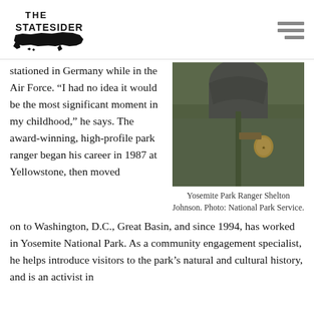The Statesider
stationed in Germany while in the Air Force. “I had no idea it would be the most significant moment in my childhood,” he says. The award-winning, high-profile park ranger began his career in 1987 at Yellowstone, then moved on to Washington, D.C., Great Basin, and since 1994, has worked in Yosemite National Park. As a community engagement specialist, he helps introduce visitors to the park’s natural and cultural history, and is an activist in
[Figure (photo): Yosemite Park Ranger Shelton Johnson wearing olive green ranger jacket with badge and name tag]
Yosemite Park Ranger Shelton Johnson. Photo: National Park Service.